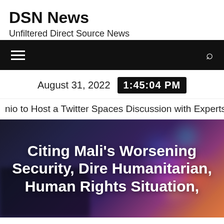DSN News
Unfiltered Direct Source News
August 31, 2022  1:45:04 PM
nio to Host a Twitter Spaces Discussion with Experts on the H
Citing Mali's Worsening Security, Dire Humanitarian, Human Rights Situation,